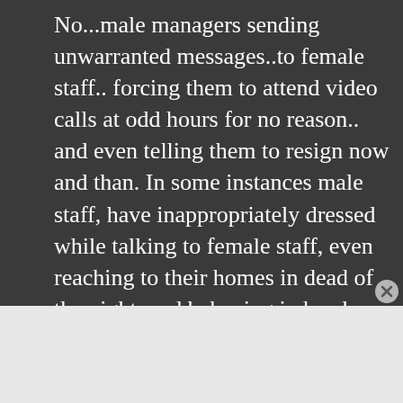No...male managers sending unwarranted messages..to female staff.. forcing them to attend video calls at odd hours for no reason.. and even telling them to resign now and than. In some instances male staff, have inappropriately dressed while talking to female staff, even reaching to their homes in dead of the night, and behaving in brash manner. Sending friend request, commenting in vulgar
Advertisements
[Figure (logo): Longreads advertisement banner with red background, circular logo, and tagline: The best stories on the web — ours, and everyone else's.]